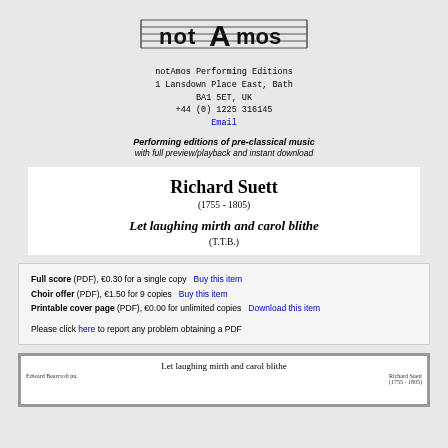[Figure (logo): notAmos logo with musical staff lines and stylized text]
notAmos Performing Editions
1 Lansdown Place East, Bath
BA1 5ET, UK
+44 (0) 1225 316145
Email
Performing editions of pre-classical music
with full preview/playback and instant download
Richard Suett
(1755 - 1805)
Let laughing mirth and carol blithe
(T.T.B.)
Full score (PDF), €0.30 for a single copy   Buy this item
Choir offer (PDF), €1.50 for 9 copies   Buy this item
Printable cover page (PDF), €0.00 for unlimited copies   Download this item
Please click here to report any problem obtaining a PDF
[Figure (screenshot): Preview of sheet music showing 'Let laughing mirth and carol blithe' by Richard Suett (1755-1805), edited by Edward Bearcroft]